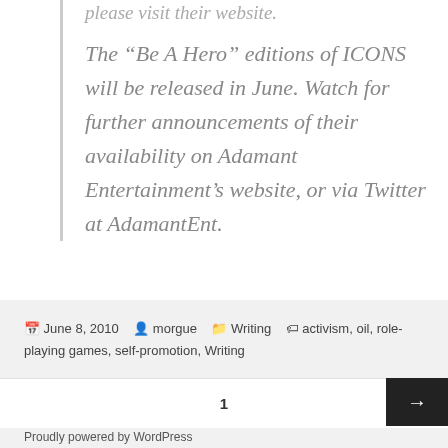please visit their website.
The “Be A Hero” editions of ICONS will be released in June. Watch for further announcements of their availability on Adamant Entertainment’s website, or via Twitter at AdamantEnt.
June 8, 2010  morgue  Writing  activism, oil, role-playing games, self-promotion, Writing
1
Proudly powered by WordPress